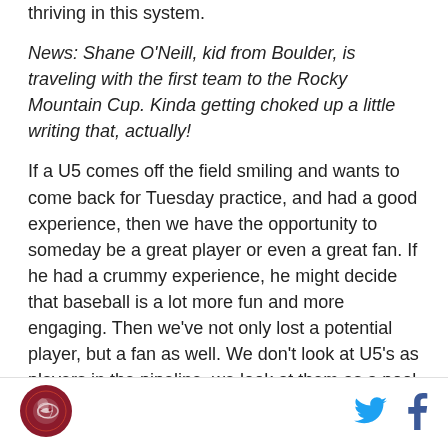thriving in this system.
News: Shane O'Neill, kid from Boulder, is traveling with the first team to the Rocky Mountain Cup. Kinda getting choked up a little writing that, actually!
If a U5 comes off the field smiling and wants to come back for Tuesday practice, and had a good experience, then we have the opportunity to someday be a great player or even a great fan. If he had a crummy experience, he might decide that baseball is a lot more fun and more engaging. Then we've not only lost a potential player, but a fan as well. We don't look at U5's as players in the pipeline, we look at them as a pool of people who we want to keep in the sport. You
[Figure (logo): Circular red/maroon logo with a soccer-related design]
[Figure (logo): Twitter bird icon in blue]
[Figure (logo): Facebook f icon in dark blue]